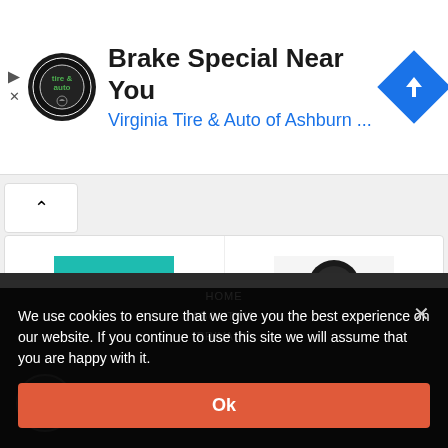[Figure (screenshot): Advertisement banner for Virginia Tire & Auto of Ashburn with logo, title 'Brake Special Near You', subtitle 'Virginia Tire & Auto of Ashburn ...', and a blue navigation arrow icon.]
[Figure (screenshot): App cards showing JumjumFly (teal background with orange shapes) and Real-Time Voice (black and white icon) with a scroll-up chevron button.]
Recommendations For This Article
[Figure (screenshot): Dark website footer showing HOME, ABOUT US, PRIVACY navigation links, alternativebk.com domain, chat icon, and Instagram icon.]
We use cookies to ensure that we give you the best experience on our website. If you continue to use this site we will assume that you are happy with it.
Ok